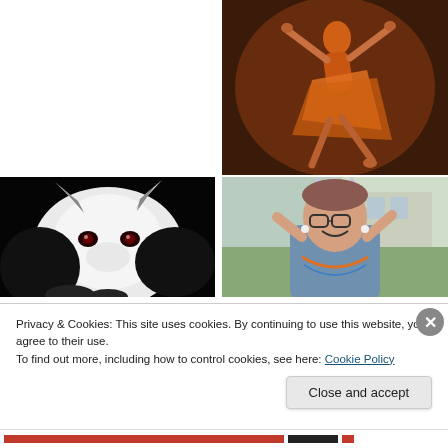[Figure (photo): Dancer in orange costume against dark brown background, performing a dramatic pose with arms and legs extended]
[Figure (photo): Black and white close-up photo of a white wolf or dog with dark eyes against a black background]
[Figure (photo): Woman wearing glasses and a tiara, smiling and adjusting her hair, wearing a blue cardigan and colorful beaded necklaces, outdoors]
Privacy & Cookies: This site uses cookies. By continuing to use this website, you agree to their use.
To find out more, including how to control cookies, see here: Cookie Policy
Close and accept